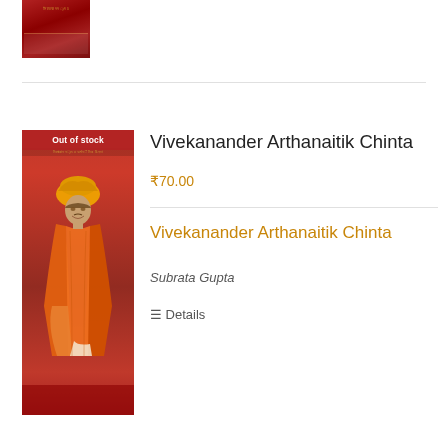[Figure (photo): Partial view of a red book cover at the top left corner of the page]
[Figure (photo): Book cover for 'Vivekanander Arthanaitik Chinta' showing Swami Vivekananda in orange robes and turban against a red background, with 'Out of stock' banner at top]
Vivekanander Arthanaitik Chinta
₹70.00
Vivekanander Arthanaitik Chinta
Subrata Gupta
Details